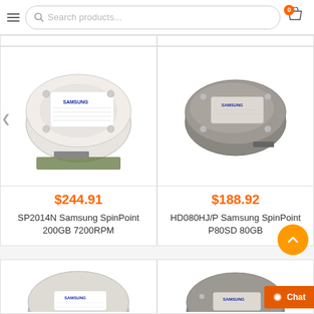Search products...
[Figure (photo): Samsung SpinPoint 200GB 7200RPM hard drive disk, top-down angled view showing the label and circuit board]
$244.91
SP2014N Samsung SpinPoint 200GB 7200RPM
[Figure (photo): Samsung SpinPoint P80SD 80GB hard drive disk, angled view showing dark metallic top]
$188.92
HD080HJ/P Samsung SpinPoint P80SD 80GB
[Figure (photo): Hard drive disk partially visible at bottom of page, cut off]
[Figure (photo): Hard drive disk partially visible at bottom right of page, cut off]